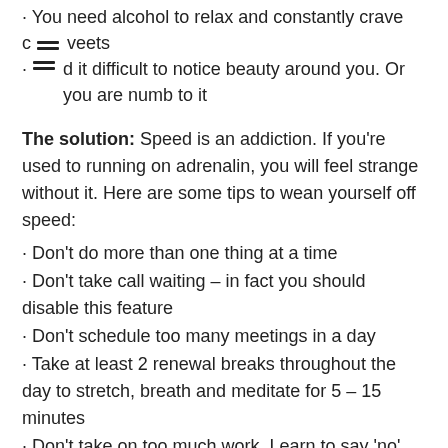· You need alcohol to relax and constantly crave c [icon] veets
· [hamburger icon] d it difficult to notice beauty around you. Or you are numb to it
The solution: Speed is an addiction. If you're used to running on adrenalin, you will feel strange without it. Here are some tips to wean yourself off speed:
· Don't do more than one thing at a time
· Don't take call waiting – in fact you should disable this feature
· Don't schedule too many meetings in a day
· Take at least 2 renewal breaks throughout the day to stretch, breath and meditate for 5 – 15 minutes
· Don't take on too much work. Learn to say 'no'
· Take a walk after work, preferably in nature. Go alone